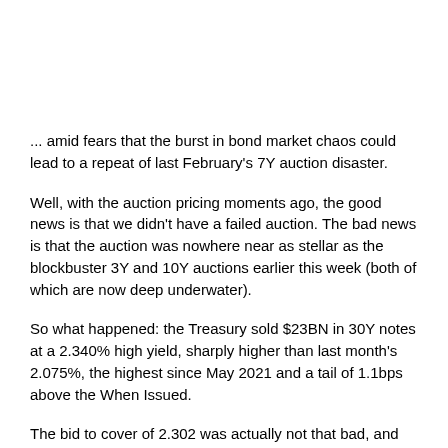... amid fears that the burst in bond market chaos could lead to a repeat of last February's 7Y auction disaster.
Well, with the auction pricing moments ago, the good news is that we didn't have a failed auction. The bad news is that the auction was nowhere near as stellar as the blockbuster 3Y and 10Y auctions earlier this week (both of which are now deep underwater).
So what happened: the Treasury sold $23BN in 30Y notes at a 2.340% high yield, sharply higher than last month's 2.075%, the highest since May 2021 and a tail of 1.1bps above the When Issued.
The bid to cover of 2.302 was actually not that bad, and came right on [close button] ow last month's